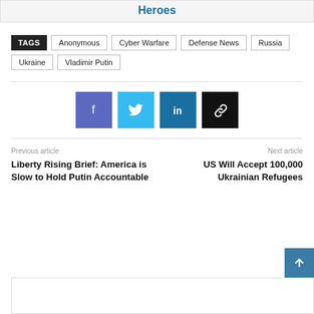Heroes
TAGS  Anonymous  Cyber Warfare  Defense News  Russia  Ukraine  Vladimir Putin
[Figure (other): Social share buttons: Facebook (blue-purple), Twitter (light blue), LinkedIn (dark blue), Link/copy (black)]
Previous article
Liberty Rising Brief: America is Slow to Hold Putin Accountable
Next article
US Will Accept 100,000 Ukrainian Refugees